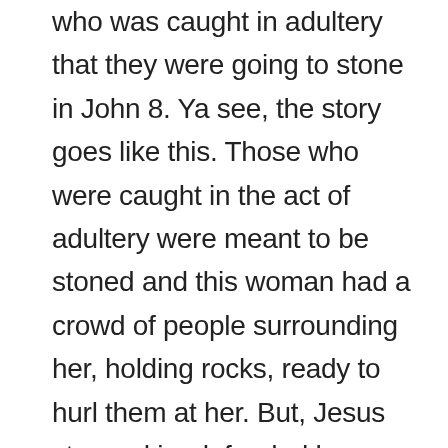who was caught in adultery that they were going to stone in John 8. Ya see, the story goes like this. Those who were caught in the act of adultery were meant to be stoned and this woman had a crowd of people surrounding her, holding rocks, ready to hurl them at her. But, Jesus stepped in, defended her saying that to everyone holding a rock, “Let he who is without sin, throw the first stone.” The people dropped his or her rocks and walked away. So, we did the same thing and were challenged to forgive those who have wronged or harmed us. To quote Ricky, “Condemnation is not our business, forgiveness is our business.”